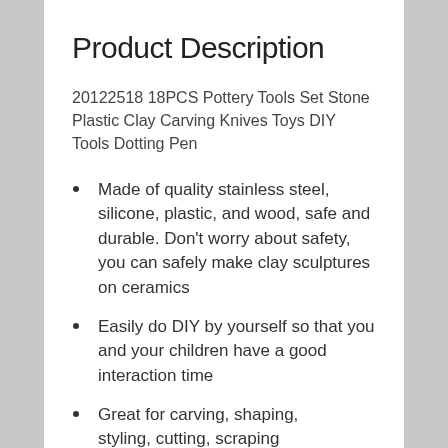Product Description
20122518 18PCS Pottery Tools Set Stone Plastic Clay Carving Knives Toys DIY Tools Dotting Pen
Made of quality stainless steel, silicone, plastic, and wood, safe and durable. Don't worry about safety, you can safely make clay sculptures on ceramics
Easily do DIY by yourself so that you and your children have a good interaction time
Great for carving, shaping, styling, cutting, scraping